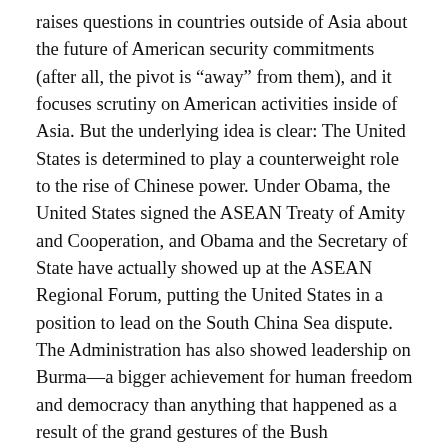raises questions in countries outside of Asia about the future of American security commitments (after all, the pivot is “away” from them), and it focuses scrutiny on American activities inside of Asia. But the underlying idea is clear: The United States is determined to play a counterweight role to the rise of Chinese power. Under Obama, the United States signed the ASEAN Treaty of Amity and Cooperation, and Obama and the Secretary of State have actually showed up at the ASEAN Regional Forum, putting the United States in a position to lead on the South China Sea dispute. The Administration has also showed leadership on Burma—a bigger achievement for human freedom and democracy than anything that happened as a result of the grand gestures of the Bush Administration. Obama is not pursuing a strategy of containment of China but steady reinforcement of America’s far-flung system of security partnerships in the region. In the meantime, the Obama Administration has articulated an agenda for cooperation with Beijing in areas such as energy, the environment, and nuclear non-proliferation. Rather than withdraw from Asia, the United States is allowing itself to be drawn into ever more elaborate and far